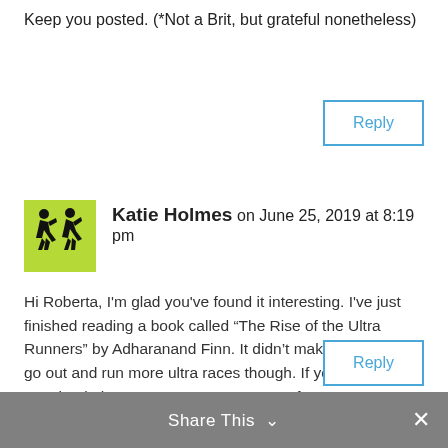Keep you posted. (*Not a Brit, but grateful nonetheless)
Reply
Katie Holmes on June 25, 2019 at 8:19 pm
Hi Roberta, I'm glad you've found it interesting. I've just finished reading a book called “The Rise of the Ultra Runners” by Adharanand Finn. It didn’t make me want to go out and run more ultra races though. If you’re on Facebook there are some great groups for runners over 50 that might help to get you motivated. Katie
Reply
Share This ∨  ✕